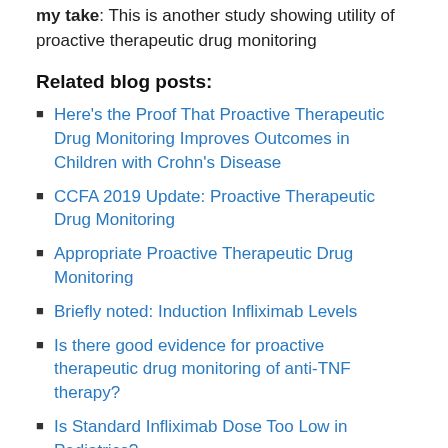my take: This is another study showing utility of proactive therapeutic drug monitoring
Related blog posts:
Here's the Proof That Proactive Therapeutic Drug Monitoring Improves Outcomes in Children with Crohn's Disease
CCFA 2019 Update: Proactive Therapeutic Drug Monitoring
Appropriate Proactive Therapeutic Drug Monitoring
Briefly noted: Induction Infliximab Levels
Is there good evidence for proactive therapeutic drug monitoring of anti-TNF therapy?
Is Standard Infliximab Dose Too Low in Pediatrics?
Can Therapeutic Drug Monitoring with Monotherapy Achieve Similar Results as Combination Therapy for IBD? | gutsandgrowth